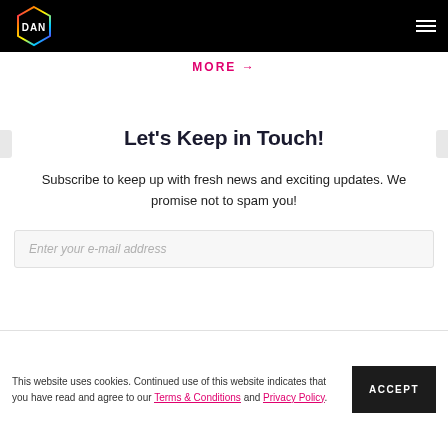DAN logo and navigation header
MORE →
Let's Keep in Touch!
Subscribe to keep up with fresh news and exciting updates. We promise not to spam you!
Enter your e-mail address
This website uses cookies. Continued use of this website indicates that you have read and agree to our Terms & Conditions and Privacy Policy.